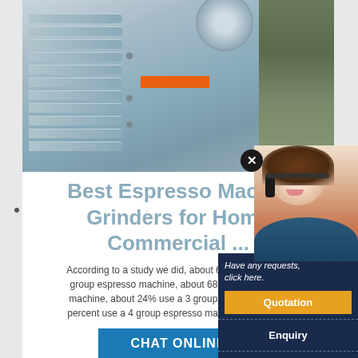[Figure (photo): Industrial jaw crusher / espresso grinder machine with gray metal body, orange label, large wheel on top right, and rocks visible on the right side background.]
Best Espresso Machine Grinders for Home Commercial ...
According to a study we did, about 6 percent of coffee group espresso machine, about 68 percent use a 2 machine, about 24% use a 3 group espresso machine percent use a 4 group espresso machine. As a gene
[Figure (photo): Customer service representative — smiling woman wearing a headset/microphone, with popup overlay showing: Have any requests, click here. Quotation button, Enquiry link, limingjlmofen@sina.com email.]